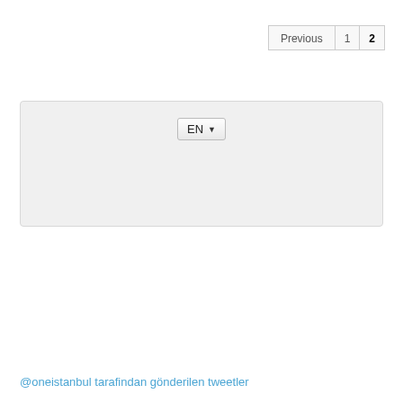Previous 1 2
[Figure (screenshot): Language selector panel with EN dropdown button on a light grey rounded rectangle background]
@oneistanbul tarafindan gönderilen tweetler